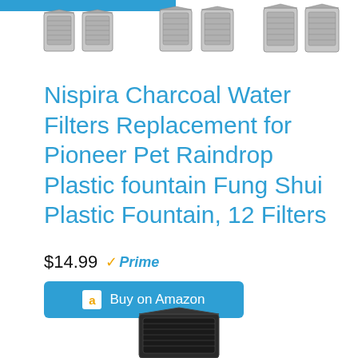[Figure (photo): Row of six charcoal water filter units shown at top of page against white background with blue bar accent]
Nispira Charcoal Water Filters Replacement for Pioneer Pet Raindrop Plastic fountain Fung Shui Plastic Fountain, 12 Filters
$14.99 Prime
Buy on Amazon
[Figure (photo): Partial view of another charcoal water filter product at the bottom of the page]